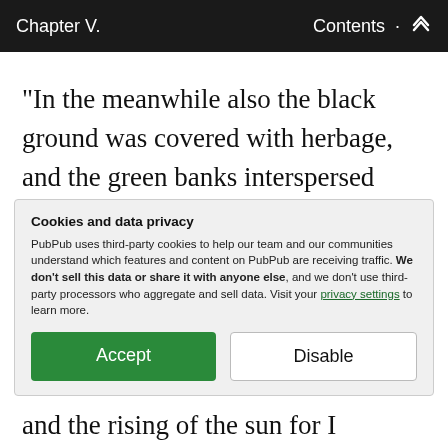Chapter V.  Contents
“In the meanwhile also the black ground was covered with herbage, and the green banks interspersed with innumerable flowers, sweet to the scent and the eyes, stars of pale radiance among the moonlight woods: the sun became warmer.
Cookies and data privacy
PubPub uses third-party cookies to help our team and our communities understand which features and content on PubPub are receiving traffic. We don't sell this data or share it with anyone else, and we don't use third-party processors who aggregate and sell data. Visit your privacy settings to learn more.
and the rising of the sun for I